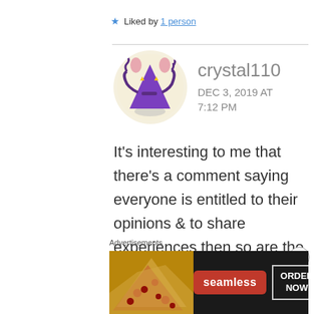★ Liked by 1 person
[Figure (illustration): Cartoon purple alien creature with mouse ears, multiple arms, and yellow triangle eyes, sitting in a meditative pose on a circular beige background.]
crystal110
DEC 3, 2019 AT 7:12 PM
It's interesting to me that there's a comment saying everyone is entitled to their opinions & to share experiences then so are the
Advertisements
[Figure (screenshot): Seamless food delivery advertisement banner showing pizza on the left, Seamless logo in red in the center, and ORDER NOW button on the right.]